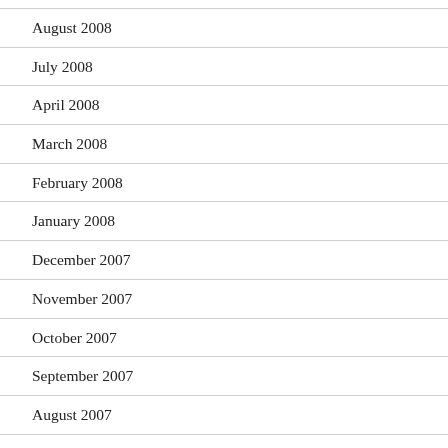August 2008
July 2008
April 2008
March 2008
February 2008
January 2008
December 2007
November 2007
October 2007
September 2007
August 2007